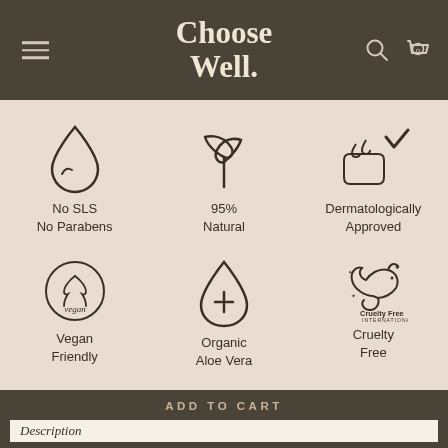Choose Well.
[Figure (infographic): Six product attribute icons in a 3x2 grid on beige background: water drop (No SLS No Parabens), plant sprout (95% Natural), dermatology hand with drops and checkmark (Dermatologically Approved), Vegan circle logo (Vegan Friendly), water drop with plus (Organic Aloe Vera), leaping bunny logo (Cruelty Free)]
ADD TO CART
Description